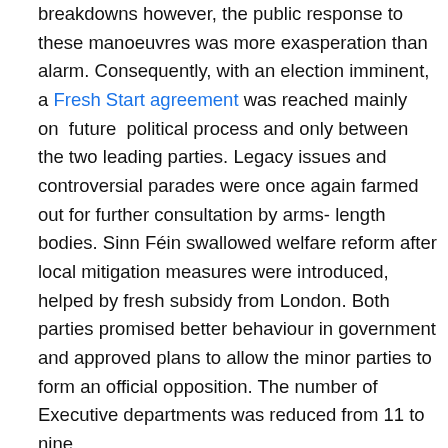breakdowns however, the public response to these manoeuvres was more exasperation than alarm. Consequently, with an election imminent, a Fresh Start agreement was reached mainly on future political process and only between the two leading parties. Legacy issues and controversial parades were once again farmed out for further consultation by arms- length bodies. Sinn Féin swallowed welfare reform after local mitigation measures were introduced, helped by fresh subsidy from London. Both parties promised better behaviour in government and approved plans to allow the minor parties to form an official opposition. The number of Executive departments was reduced from 11 to nine.
During the election campaign last spring, it became known that the DUP and Sinn Féin were collaborating privately on a new-style programme for government based on